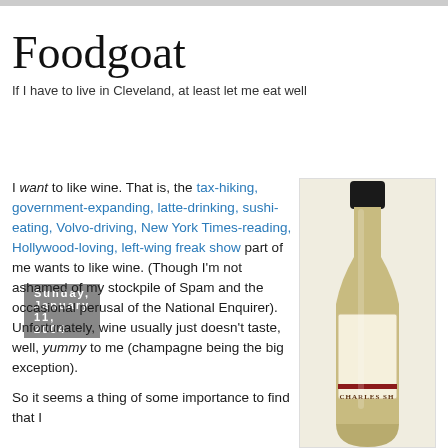Foodgoat
If I have to live in Cleveland, at least let me eat well
Sunday, January 11, 2004
I want to like wine. That is, the tax-hiking, government-expanding, latte-drinking, sushi-eating, Volvo-driving, New York Times-reading, Hollywood-loving, left-wing freak show part of me wants to like wine. (Though I'm not ashamed of my stockpile of Spam and the occasional perusal of the National Enquirer). Unfortunately, wine usually just doesn't taste, well, yummy to me (champagne being the big exception).
[Figure (photo): A bottle of Charles Shaw white wine photographed on a white/cream background]
So it seems a thing of some importance to find that I